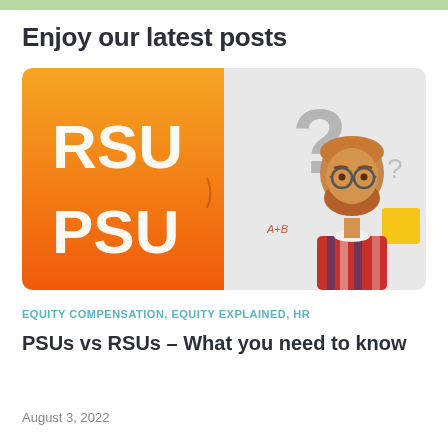Enjoy our latest posts
[Figure (illustration): Blog post thumbnail image split into two halves: left half has orange-to-yellow gradient background with white text 'RSU' and 'PSU'; right half shows a confused bearded man wearing glasses and a plaid shirt, surrounded by question marks and a yellow sticky note, on a light gray background.]
EQUITY COMPENSATION, EQUITY EXPLAINED, HR
PSUs vs RSUs – What you need to know
August 3, 2022